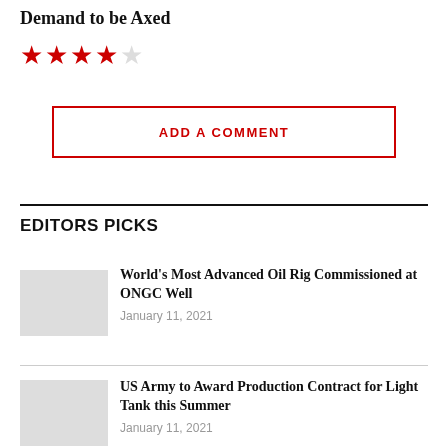Demand to be Axed
[Figure (other): Star rating: 4 out of 5 red stars]
ADD A COMMENT
EDITORS PICKS
World's Most Advanced Oil Rig Commissioned at ONGC Well
January 11, 2021
US Army to Award Production Contract for Light Tank this Summer
January 11, 2021